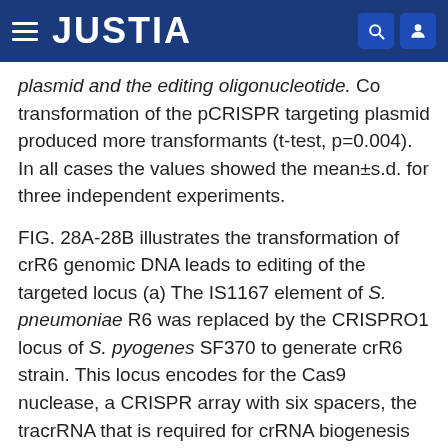JUSTIA
plasmid and the editing oligonucleotide. Co transformation of the pCRISPR targeting plasmid produced more transformants (t-test, p=0.004). In all cases the values showed the mean±s.d. for three independent experiments.
FIG. 28A-28B illustrates the transformation of crR6 genomic DNA leads to editing of the targeted locus (a) The IS1167 element of S. pneumoniae R6 was replaced by the CRISPRO1 locus of S. pyogenes SF370 to generate crR6 strain. This locus encodes for the Cas9 nuclease, a CRISPR array with six spacers, the tracrRNA that is required for crRNA biogenesis and Cas1, Cas2 and Csn2, proteins not necessary for targeting. Strain crR6M contains a minimal functional CRISPR system without cas1, cas2 and csn2. The aphA-3 gene encodes kanamycin resistance. Protospacers from the streptococcal bacteriophages #8232.5 and #370.1 were